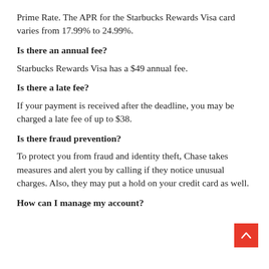Prime Rate. The APR for the Starbucks Rewards Visa card varies from 17.99% to 24.99%.
Is there an annual fee?
Starbucks Rewards Visa has a $49 annual fee.
Is there a late fee?
If your payment is received after the deadline, you may be charged a late fee of up to $38.
Is there fraud prevention?
To protect you from fraud and identity theft, Chase takes measures and alert you by calling if they notice unusual charges. Also, they may put a hold on your credit card as well.
How can I manage my account?